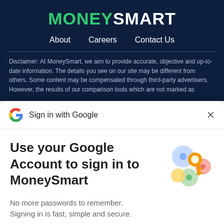MONEYSMART
About   Careers   Contact Us
Disclaimer: At MoneySmart, we aim to provide accurate, objective and up-to-date information. The details you see on our site may be different from others. Some content may be compensated through third-party advertisers. However, the results of our comparison tools which are not marked as
[Figure (screenshot): Google Sign in with Google dialog header with Google G logo and X close button]
Use your Google Account to sign in to MoneySmart
No more passwords to remember.
Signing in is fast, simple and secure.
[Figure (illustration): Colorful Google sign-in illustration with a golden key and circular shapes in blue, green, and pink]
Continue